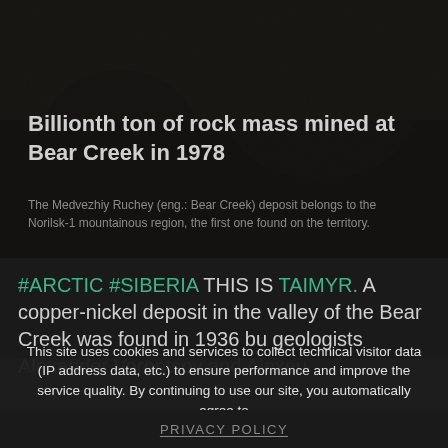[Figure (photo): Dark grainy archival photograph showing people, overlaid with dark semi-transparent layer. Caption about billionth ton of rock mass mined at Bear Creek in 1978.]
Billionth ton of rock mass mined at Bear Creek in 1978
The Medvezhiy Ruchey (eng.: Bear Creek) deposit belongs to the Norilsk-1 mountainous region, the first one found on the territory.
#ARCTIC #SIBERIA THIS IS TAIMYR. A copper-nickel deposit in the valley of the Bear Creek was found in 1936 by geologists Alexander Vorontsov and Alexeu
This site uses cookies and services to collect technical visitor data (IP address data, etc.) to ensure performance and improve the service quality. By continuing to use our site, you automatically agree to the use of these technologies:
PRIVACY POLICY